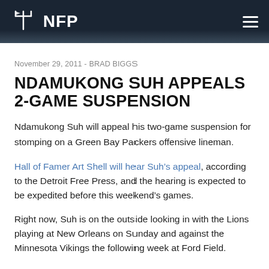NFP
November 29, 2011 - BRAD BIGGS
NDAMUKONG SUH APPEALS 2-GAME SUSPENSION
Ndamukong Suh will appeal his two-game suspension for stomping on a Green Bay Packers offensive lineman.
Hall of Famer Art Shell will hear Suh’s appeal, according to the Detroit Free Press, and the hearing is expected to be expedited before this weekend’s games.
Right now, Suh is on the outside looking in with the Lions playing at New Orleans on Sunday and against the Minnesota Vikings the following week at Ford Field.